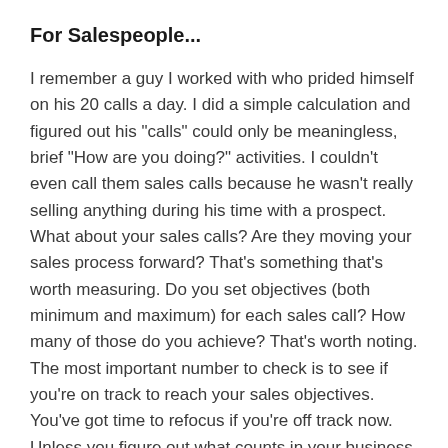For Salespeople...
I remember a guy I worked with who prided himself on his 20 calls a day. I did a simple calculation and figured out his "calls" could only be meaningless, brief "How are you doing?" activities. I couldn't even call them sales calls because he wasn't really selling anything during his time with a prospect. What about your sales calls? Are they moving your sales process forward? That's something that's worth measuring. Do you set objectives (both minimum and maximum) for each sales call? How many of those do you achieve? That's worth noting. The most important number to check is to see if you're on track to reach your sales objectives. You've got time to refocus if you're off track now. Unless you figure out what counts in your business and work with that data, you will find yourself at the end of the year counting things that don't count.